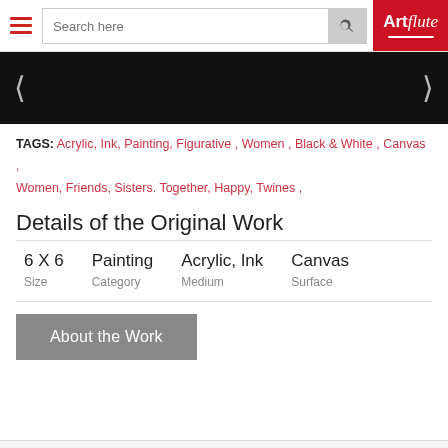[Figure (screenshot): Website header with hamburger menu, search bar, and Artflute logo on red background]
[Figure (screenshot): Black image slider/carousel with left and right arrows]
TAGS: Acrylic, Ink, Painting, Figurative , Women , Black & White , Canvas , Women, Friends, Sisters. Together, Happy, Twines ,
Details of the Original Work
| Size | Category | Medium | Surface |
| --- | --- | --- | --- |
| 6 X 6 | Painting | Acrylic, Ink | Canvas |
About the Work